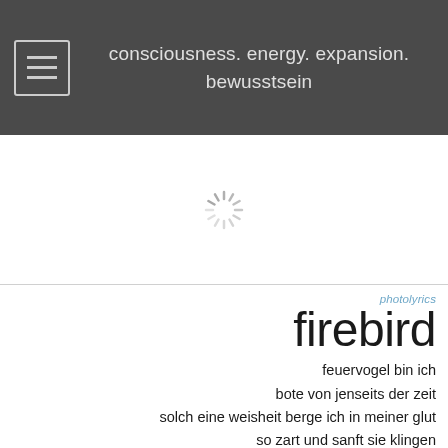consciousness. energy. expansion. bewusstsein
[Figure (other): Loading spinner icon — a circular sunburst/radial lines spinner in light gray, indicating an image is loading]
photolyrics
firebird
feuervogel bin ich
bote von jenseits der zeit
solch eine weisheit berge ich in meiner glut
so zart und sanft sie klingen
die glöckchen an meinen schwingen
durchs unendliche segle